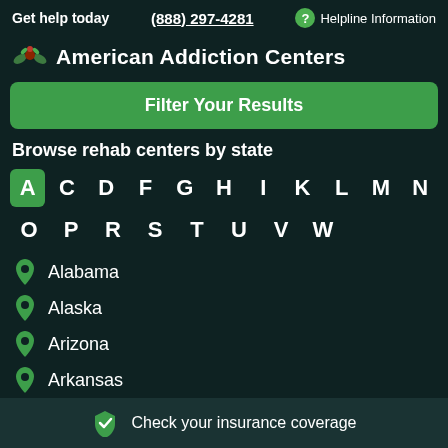Get help today  (888) 297-4281  ? Helpline Information
American Addiction Centers
Filter Your Results
Browse rehab centers by state
A C D F G H I K L M N O P R S T U V W
Alabama
Alaska
Arizona
Arkansas
Check your insurance coverage